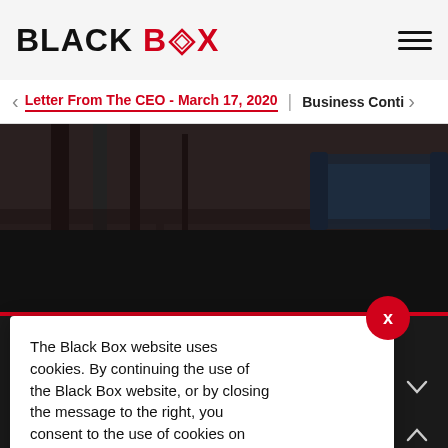[Figure (logo): Black Box logo with diamond icon in O, black and red text on light gray background]
Letter From The CEO - March 17, 2020  |  Business Conti
[Figure (photo): Dark office interior with desk furniture, dark moody lighting]
[Figure (logo): Large BLACK BOX white text logo with diamond icon on dark background]
The Black Box website uses cookies. By continuing the use of the Black Box website, or by closing the message to the right, you consent to the use of cookies on this website More information.
® Black Box Registered Trademark 2022. All Rights Reserved.
1-800-667-6625
Solutions - 1-855-324-9909